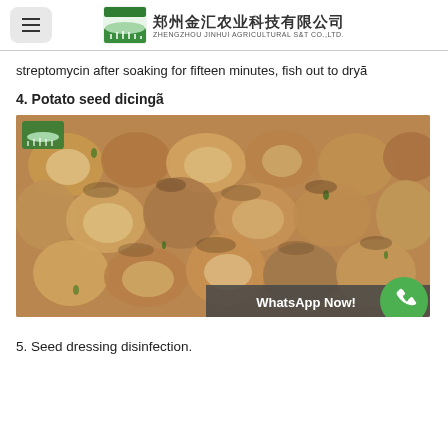郑州金汇农业科技有限公司 ZHENGZHOU JINHUI AGRICULTURAL S&T CO.,LTD.
streptomycin after soaking for fifteen minutes, fish out to dry。
4. Potato seed dicing。
[Figure (photo): Photograph of diced potato seed pieces showing cut tubers with sprouts/eyes, scattered in a pile ready for planting. A WhatsApp Now! button overlay is visible in the bottom right corner.]
5. Seed dressing disinfection.